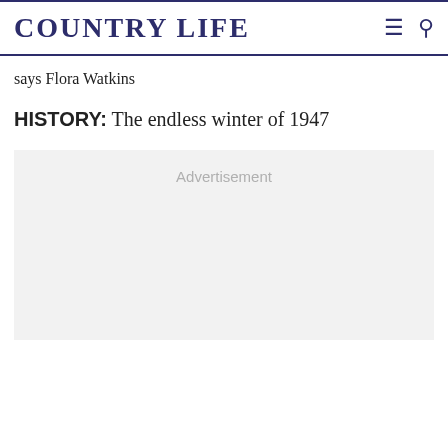COUNTRY LIFE
says Flora Watkins
HISTORY: The endless winter of 1947
[Figure (other): Advertisement placeholder box with light grey background and 'Advertisement' label text]